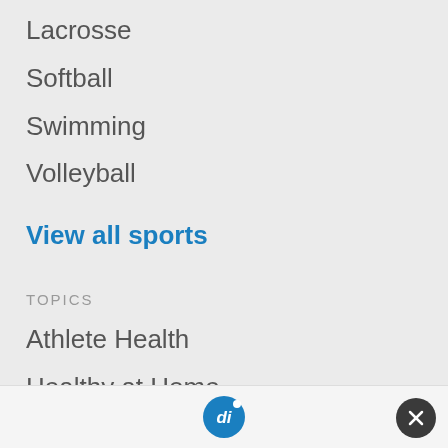Lacrosse
Softball
Swimming
Volleyball
View all sports
TOPICS
Athlete Health
Healthy at Home
New to Sports
Olympics
Recruiting
Return to Play
Safety